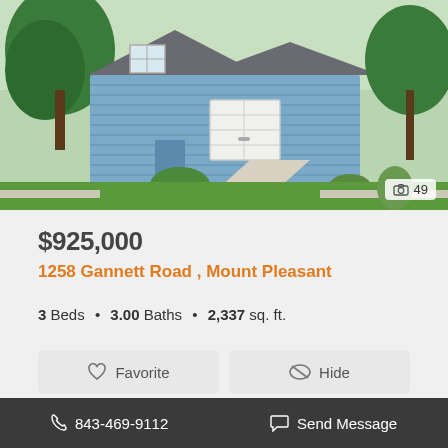[Figure (photo): Exterior photo of a light blue two-story house with two-car garage and landscaped front yard with trees]
$925,000
1258 Gannett Road , Mount Pleasant
3 Beds • 3.00 Baths • 2,337 sq. ft.
Favorite   Hide
[Figure (photo): Exterior photo showing large oak trees with Spanish moss against a blue sky]
843-469-9112   Send Message